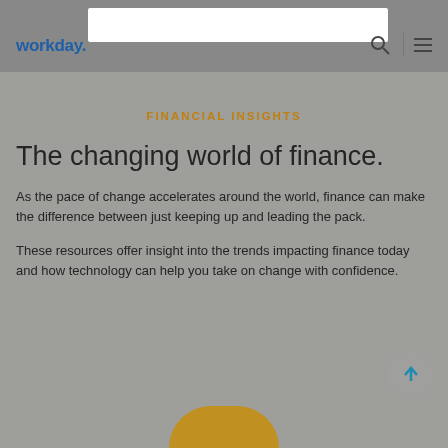workday.
FINANCIAL INSIGHTS
The changing world of finance.
As the pace of change accelerates around the world, finance can make the difference between just keeping up and leading the pack.
These resources offer insight into the trends impacting finance today and how technology can help you take on change with confidence.